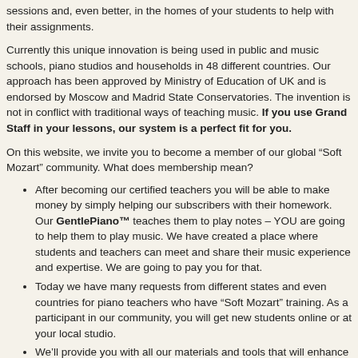sessions and, even better, in the homes of your students to help with their assignments.
Currently this unique innovation is being used in public and music schools, piano studios and households in 48 different countries. Our approach has been approved by Ministry of Education of UK and is endorsed by Moscow and Madrid State Conservatories. The invention is not in conflict with traditional ways of teaching music. If you use Grand Staff in your lessons, our system is a perfect fit for you.
On this website, we invite you to become a member of our global “Soft Mozart” community. What does membership mean?
After becoming our certified teachers you will be able to make money by simply helping our subscribers with their homework. Our GentlePiano™ teaches them to play notes – YOU are going to help them to play music. We have created a place where students and teachers can meet and share their music experience and expertise. We are going to pay you for that.
Today we have many requests from different states and even countries for piano teachers who have “Soft Mozart” training. As a participant in our community, you will get new students online or at your local studio.
We’ll provide you with all our materials and tools that will enhance your teaching experience.
Becoming the next teacher, you will be able to...